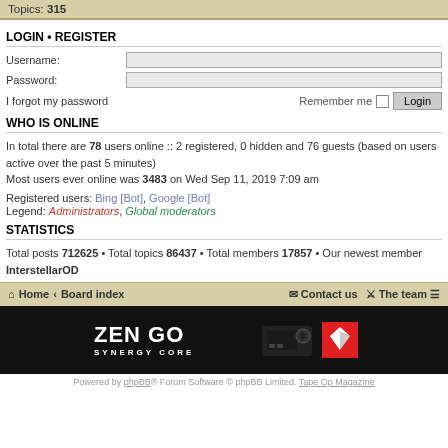Topics: 315
LOGIN • REGISTER
Username:
Password:
I forgot my password    Remember me   Login
WHO IS ONLINE
In total there are 78 users online :: 2 registered, 0 hidden and 76 guests (based on users active over the past 5 minutes)
Most users ever online was 3483 on Wed Sep 11, 2019 7:09 am
Registered users: Bing [Bot], Google [Bot]
Legend: Administrators, Global moderators
STATISTICS
Total posts 712625 • Total topics 86437 • Total members 17857 • Our newest member InterstellarOD
Home  Board index    Contact us   The team
[Figure (illustration): ZEN GO SYNERGY CORE advertisement banner with device image and antelope logo]
Powered by phpBB® Forum Software © phpBB Limited. Tape Op Magazine